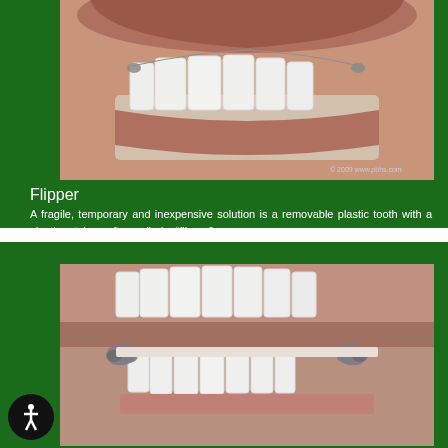[Figure (illustration): 3D dental illustration showing upper teeth with a flipper removable plastic tooth retainer. Copyright 2009 www.pbhs.com watermark visible.]
Flipper
A fragile, temporary and inexpensive solution is a removable plastic tooth with a plastic retainer, often called a “flipper”.
[Figure (illustration): 3D dental illustration showing a partial denture or dental bridge with metal clasps fitted onto lower teeth, viewed from the front showing upper and lower jaw.]